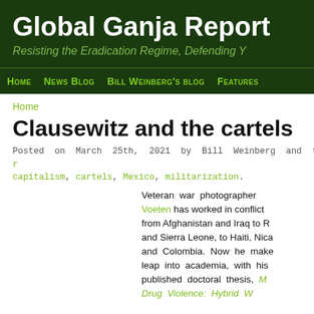Global Ganja Report
Resisting the Eradication Regime, Defending Y
Home  News Blog  Bill Weinberg's blog  Features
Home
Clausewitz and the cartels
Posted on March 25th, 2021 by Bill Weinberg and tagged book r capitalism, cartels, Mexico, militarization.
Veteran war photographer Voeten has worked in conflict from Afghanistan and Iraq to R and Sierra Leone, to Haiti, Nica and Colombia. Now he make leap into academia, with his published doctoral thesis, M Drug Violence: Hybrid W